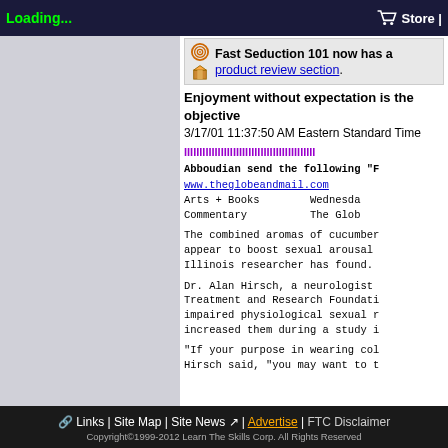Loading... | Store
[Figure (screenshot): Promo box with target icon and box icon, text: Fast Seduction 101 now has a product review section.]
Enjoyment without expectation is the objective
3/17/01 11:37:50 AM Eastern Standard Time
IIIIIIIIIIIIIIIIIIIIIIIIIIIIIIIIIIIII
Abboudian send the following "F
www.theglobeandmail.com
Arts + Books        Wednesda
Commentary          The Glob
The combined aromas of cucumber appear to boost sexual arousal Illinois researcher has found.
Dr. Alan Hirsch, a neurologist Treatment and Research Foundati impaired physiological sexual r increased them during a study i
"If your purpose in wearing col Hirsch said, "you may want to t
Links | Site Map | Site News | Advertise | FTC Disclaimer
Copyright©1999-2012 Learn The Skills Corp. All Rights Reserved